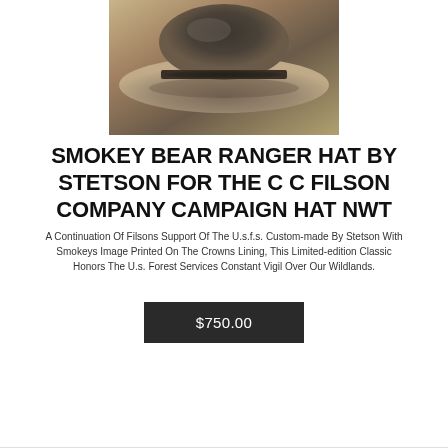[Figure (photo): A gray Smokey Bear ranger hat by Stetson, displayed in a box, photographed from above showing the brim and crown.]
SMOKEY BEAR RANGER HAT BY STETSON FOR THE C C FILSON COMPANY CAMPAIGN HAT NWT
A Continuation Of Filsons Support Of The U.s.f.s. Custom-made By Stetson With Smokeys Image Printed On The Crowns Lining, This Limited-edition Classic Honors The U.s. Forest Services Constant Vigil Over Our Wildlands.
$750.00